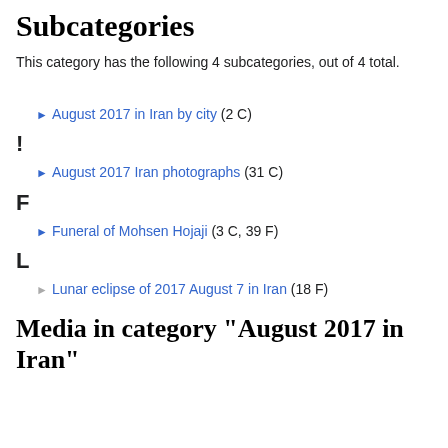Subcategories
This category has the following 4 subcategories, out of 4 total.
▶ August 2017 in Iran by city (2 C)
!
▶ August 2017 Iran photographs (31 C)
F
▶ Funeral of Mohsen Hojaji (3 C, 39 F)
L
▶ Lunar eclipse of 2017 August 7 in Iran (18 F)
Media in category "August 2017 in Iran"